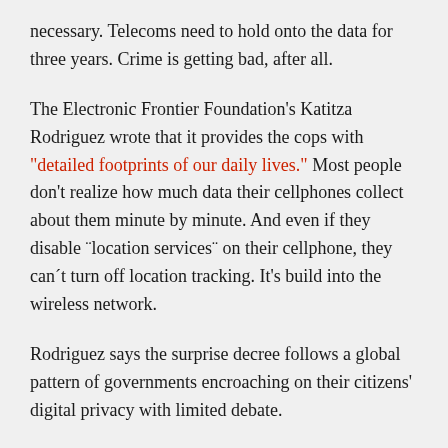necessary. Telecoms need to hold onto the data for three years. Crime is getting bad, after all.
The Electronic Frontier Foundation's Katitza Rodriguez wrote that it provides the cops with "detailed footprints of our daily lives." Most people don't realize how much data their cellphones collect about them minute by minute. And even if they disable ¨location services¨ on their cellphone, they can´t turn off location tracking. It's build into the wireless network.
Rodriguez says the surprise decree follows a global pattern of governments encroaching on their citizens' digital privacy with limited debate.
The government, observed Miguel Morachimo, director of the Peruvian digital rights NGO Hiperderecho, tried to accomplish something similar three years ago in legislation that failed. Now it has achieved what it could